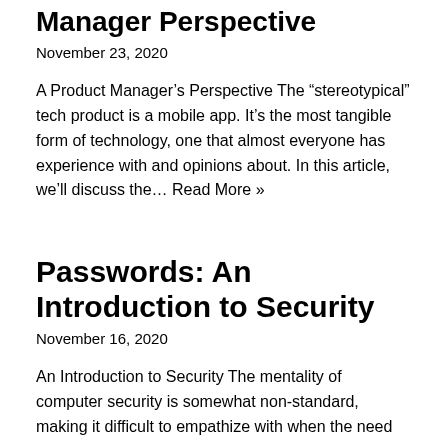Manager Perspective
November 23, 2020
A Product Manager's Perspective The “stereotypical” tech product is a mobile app. It’s the most tangible form of technology, one that almost everyone has experience with and opinions about. In this article, we’ll discuss the… Read More »
Passwords: An Introduction to Security
November 16, 2020
An Introduction to Security The mentality of computer security is somewhat non-standard, making it difficult to empathize with when the need